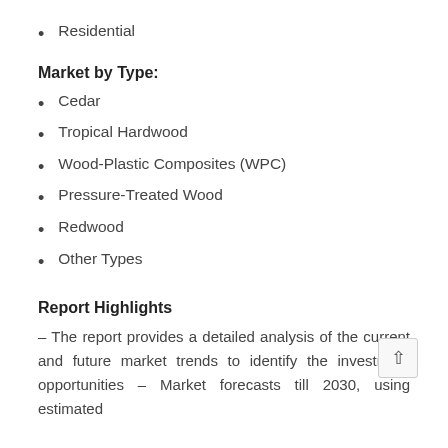Residential
Market by Type:
Cedar
Tropical Hardwood
Wood-Plastic Composites (WPC)
Pressure-Treated Wood
Redwood
Other Types
Report Highlights
– The report provides a detailed analysis of the current and future market trends to identify the investment opportunities – Market forecasts till 2030, using estimated